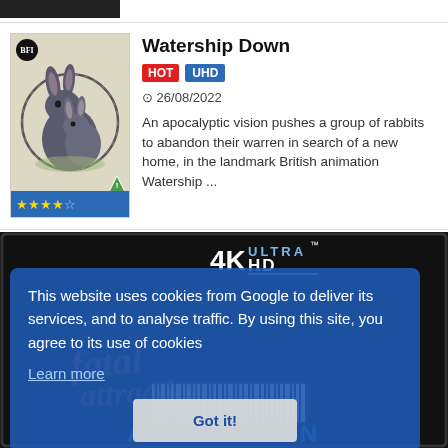[Figure (screenshot): Top black strip thumbnail remnant]
Watership Down
HOT  UHD
26/08/2022
An apocalyptic vision pushes a group of rabbits to abandon their warren in search of a new home, in the landmark British animation Watership ...
[Figure (illustration): Watership Down movie cover showing two rabbits in a circular barbed wire frame on a beige background, with BFI logo top left, 4-star rating bar at bottom, and green triangle rating icon]
[Figure (screenshot): 4K Ultra HD movie cover background with Fatal Attraction text and blu-ray barcode, overlaid with a cookie consent dialog box reading: This website uses cookies from Google to deliver its services, and to analyse traffic. By using this site, you agree to its use of cookies. Learn more. Got it!]
This website uses cookies from Google to deliver its services, and to analyse traffic. By using this site, you agree to its use of cookies
Learn more
Got it!